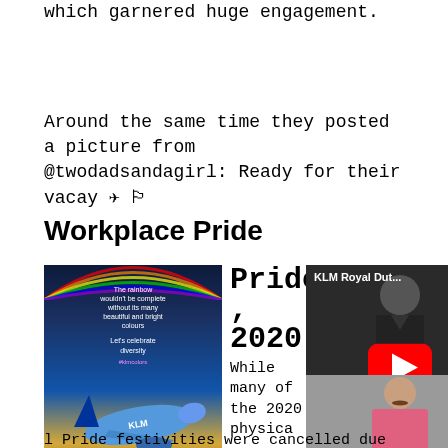which garnered huge engagement.
@twodadsandagirl: Ready for their vacay ✈ 🏳️‍🌈
Workplace Pride
[Figure (photo): KLM airplane taking off with rainbow arc in sky, text overlay about diversity]
Pride
,
2020
While many of the 2020 physica
[Figure (screenshot): KLM Royal Dutch Airlines YouTube video thumbnail with play button, person in pink shirt at bottom]
l Pride festivities were cancelled due to the